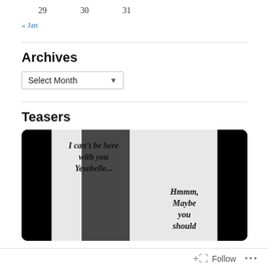29   30   31
« Jan
Archives
Select Month
Teasers
[Figure (photo): Black and white photo of two people in formal attire with italic text overlays reading 'I can't be here with you Yesebelle...' on the left and 'Hmmm, Maybe you should' on the right, inside a dark-framed rounded rectangle.]
Follow  ...